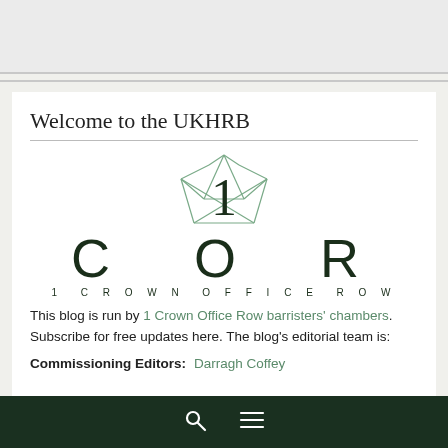[Figure (illustration): Top banner placeholder area with light gray background]
Welcome to the UKHRB
[Figure (logo): 1 Crown Office Row logo: geometric crown outline above large '1', then letters C O R in wide spacing, with '1 CROWN OFFICE ROW' in small spaced caps below]
This blog is run by 1 Crown Office Row barristers' chambers. Subscribe for free updates here. The blog's editorial team is:
Commissioning Editors:  Darragh Coffey
🔍  ≡